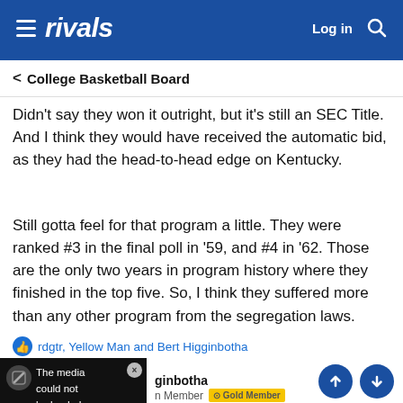rivals  Log in
< College Basketball Board
Didn't say they won it outright, but it's still an SEC Title. And I think they would have received the automatic bid, as they had the head-to-head edge on Kentucky.
Still gotta feel for that program a little. They were ranked #3 in the final poll in '59, and #4 in '62. Those are the only two years in program history where they finished in the top five. So, I think they suffered more than any other program from the segregation laws.
rdgtr, Yellow Man and Bert Higginbotha
[Figure (other): Broken media thumbnail with X close button over dark background with text 'The media could not be loaded']
ginbotha  n Member  Gold Member